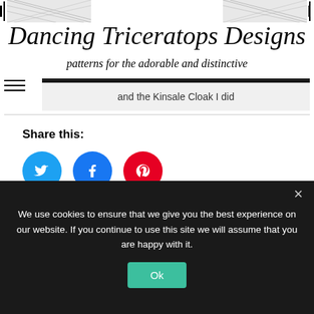[Figure (illustration): Decorative header banner with triceratops illustration and ornamental border lines]
Dancing Triceratops Designs
patterns for the adorable and distinctive
and the Kinsale Cloak I did
Share this:
[Figure (infographic): Social share icons: Twitter (blue circle), Facebook (dark blue circle), Pinterest (red circle)]
Related
We use cookies to ensure that we give you the best experience on our website. If you continue to use this site we will assume that you are happy with it.